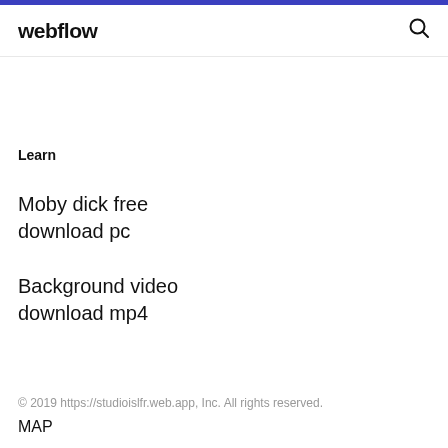webflow
Learn
Moby dick free download pc
Background video download mp4
© 2019 https://studioislfr.web.app, Inc. All rights reserved.
MAP